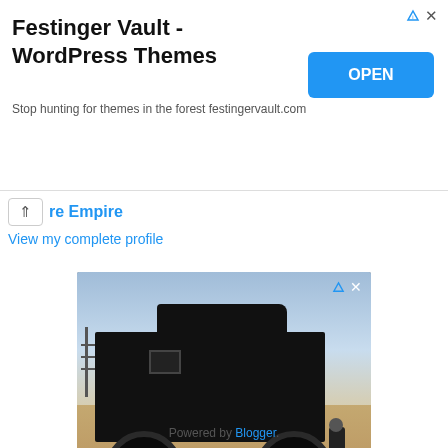[Figure (screenshot): Advertisement banner for Festinger Vault - WordPress Themes with OPEN button]
Festinger Vault - WordPress Themes
Stop hunting for themes in the forest festingervault.com
re Empire
View my complete profile
[Figure (photo): Advertisement for Atlis Motor Vehicles showing a large black truck on a dirt road with a person standing beside it. Text reads: Own a piece of Atlis. Atlis Motor Vehicles.]
Powered by Blogger.